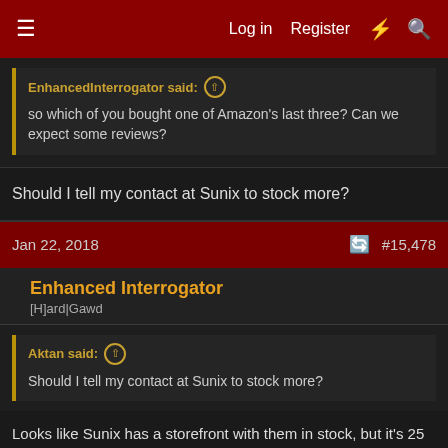≡  Log in  Register  ⚡  🔍
EnhancedInterrogator said: ↑
so which of you bought one of Amazon's last three? Can we expect some reviews?
Should I tell my contact at Sunix to stock more?
Jan 22, 2018   #15,478
Enhanced Interrogator
[H]ard|Gawd
Aktan said: ↑
Should I tell my contact at Sunix to stock more?
Looks like Sunix has a storefront with them in stock, but it's 25 bucks more than when Amazon had them in stock: